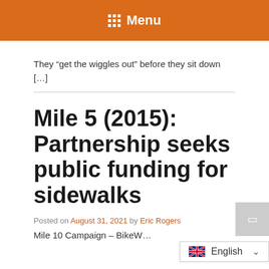Menu
They “get the wiggles out” before they sit down [...]
Mile 5 (2015): Partnership seeks public funding for sidewalks
Posted on August 31, 2021 by Eric Rogers
Mile 10 Campaign – BikeW…